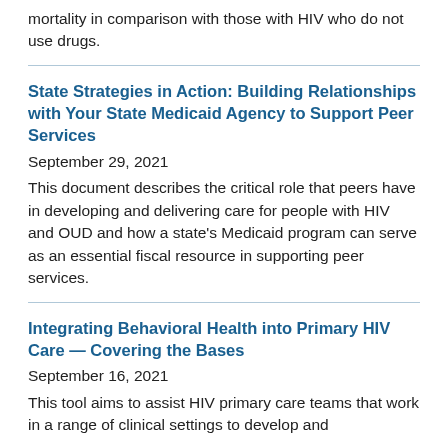mortality in comparison with those with HIV who do not use drugs.
State Strategies in Action: Building Relationships with Your State Medicaid Agency to Support Peer Services
September 29, 2021
This document describes the critical role that peers have in developing and delivering care for people with HIV and OUD and how a state’s Medicaid program can serve as an essential fiscal resource in supporting peer services.
Integrating Behavioral Health into Primary HIV Care — Covering the Bases
September 16, 2021
This tool aims to assist HIV primary care teams that work in a range of clinical settings to develop and